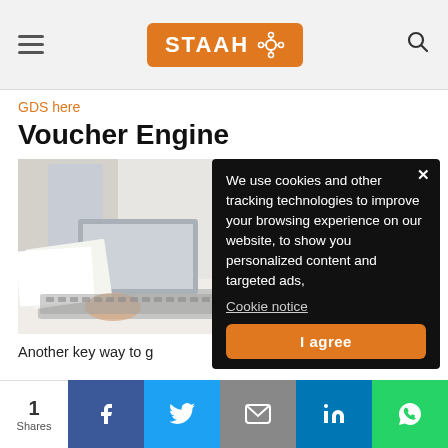[Figure (logo): STAAH logo in orange rounded rectangle with network icon, hamburger menu on left, search icon on right]
GDS here
Voucher Engine
[Figure (photo): Person typing on a laptop, white/grey tones]
We use cookies and other tracking technologies to improve your browsing experience on our website, to show you personalized content and targeted ads,
Cookie notice
I agree
Another key way to g
1
Shares